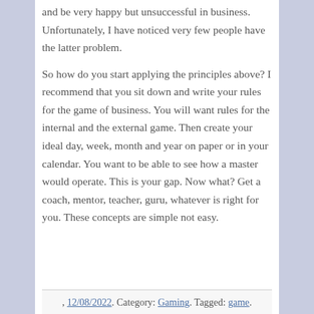and be very happy but unsuccessful in business. Unfortunately, I have noticed very few people have the latter problem.
So how do you start applying the principles above? I recommend that you sit down and write your rules for the game of business. You will want rules for the internal and the external game. Then create your ideal day, week, month and year on paper or in your calendar. You want to be able to see how a master would operate. This is your gap. Now what? Get a coach, mentor, teacher, guru, whatever is right for you. These concepts are simple not easy.
, 12/08/2022. Category: Gaming. Tagged: game.